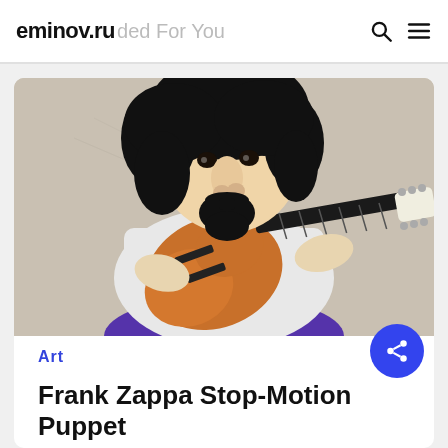eminov.ru
[Figure (photo): A felt/wool puppet figure resembling Frank Zappa with black curly hair, mustache, and beard, wearing a white shirt and purple pants, holding an orange electric guitar with a white headstock, posed against a beige background.]
Art
Frank Zappa Stop-Motion Puppet